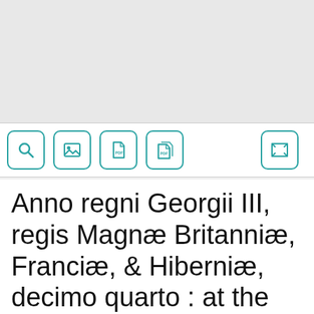[Figure (screenshot): Toolbar/UI strip with search, image, PDF, and PDF icons (teal outlined buttons) and a fullscreen/expand icon on the right, on a white background with grey border top and bottom.]
Anno regni Georgii III, regis Magnæ Britanniæ, Franciæ, & Hiberniæ, decimo quarto : at the Parliament begun and holden at Westminster, the tenth day of May, anno domini, 1768, in the eighth year of the reign of our